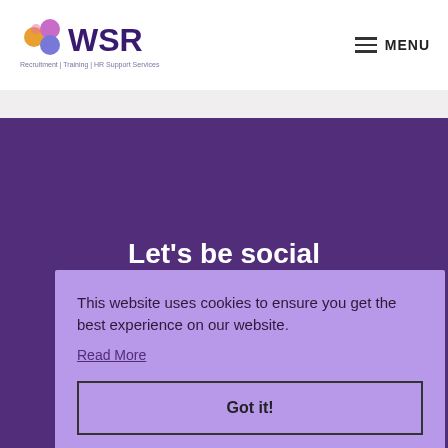[Figure (logo): WSR logo with colorful circles and text 'WSR Recruitment | Training | HR Support Services']
MENU
Let's be social
This website uses cookies to ensure you get the best experience on our website.
Read More
Got it!